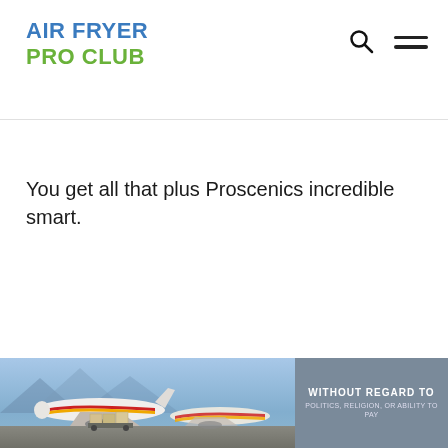AIR FRYER PRO CLUB
You get all that plus Proscenics incredible smart.
[Figure (photo): Advertisement banner showing cargo airplanes being loaded on a tarmac, with a dark grey overlay section on the right containing text 'WITHOUT REGARD TO' and smaller subtext.]